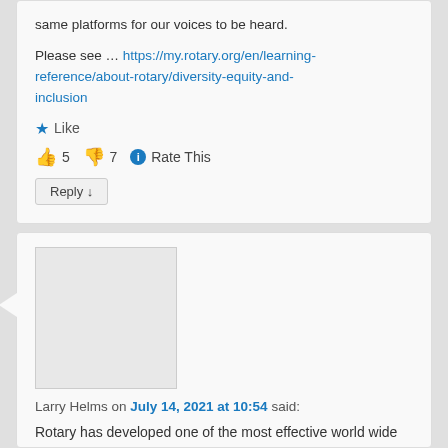same platforms for our voices to be heard.
Please see … https://my.rotary.org/en/learning-reference/about-rotary/diversity-equity-and-inclusion
★ Like
👍 5 👎 7 ℹ Rate This
Reply ↓
[Figure (other): Avatar placeholder image (gray rectangle)]
Larry Helms on July 14, 2021 at 10:54 said:
Rotary has developed one of the most effective world wide organizations and it certainly does not need DEI training of how to be more effective. No I am not interested in spending